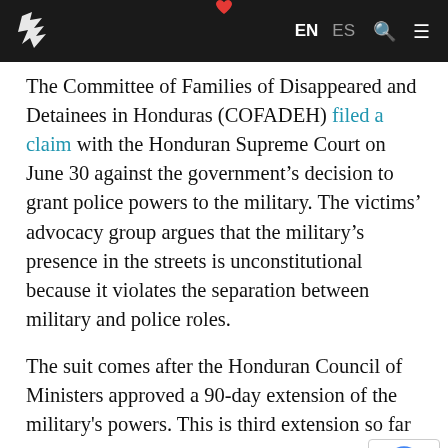EN ES [search] [menu]
The Committee of Families of Disappeared and Detainees in Honduras (COFADEH) filed a claim with the Honduran Supreme Court on June 30 against the government’s decision to grant police powers to the military. The victims’ advocacy group argues that the military’s presence in the streets is unconstitutional because it violates the separation between military and police roles.
The suit comes after the Honduran Council of Ministers approved a 90-day extension of the military's powers. This is third extension so far
Minister of Defense Marlon Pascua argues that